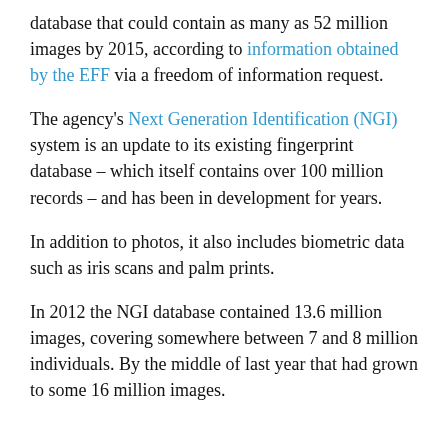database that could contain as many as 52 million images by 2015, according to information obtained by the EFF via a freedom of information request.
The agency's Next Generation Identification (NGI) system is an update to its existing fingerprint database – which itself contains over 100 million records – and has been in development for years.
In addition to photos, it also includes biometric data such as iris scans and palm prints.
In 2012 the NGI database contained 13.6 million images, covering somewhere between 7 and 8 million individuals. By the middle of last year that had grown to some 16 million images.